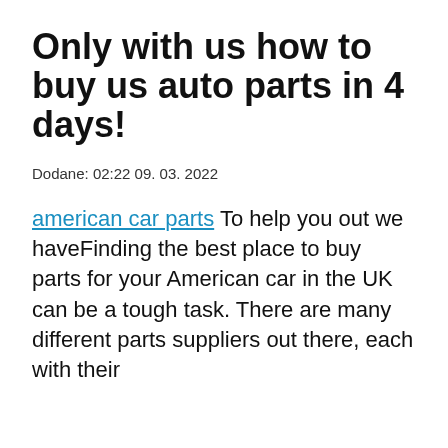Only with us how to buy us auto parts in 4 days!
Dodane: 02:22 09. 03. 2022
american car parts To help you out we haveFinding the best place to buy parts for your American car in the UK can be a tough task. There are many different parts suppliers out there, each with their